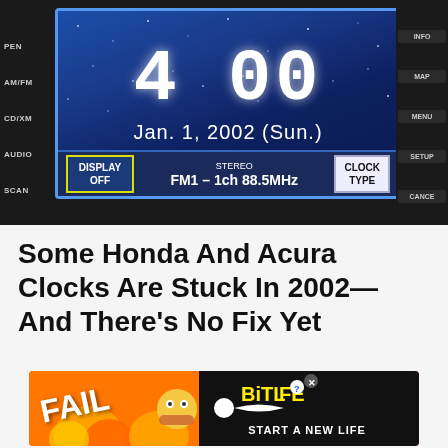[Figure (photo): Honda/Acura car radio display showing time 4:00 and date Jan. 1, 2002 (Sun.) on a blue starfield screen. Bottom bar shows DISPLAY OFF button, FM1 - 1ch 88.5MHz STEREO, and CLOCK TYPE button. Left side shows AM/FM, CD/XM, AUDIO, SCAN buttons. Right side shows INFO, MAP, MENU, SETUP, CANCEL buttons.]
Some Honda And Acura Clocks Are Stuck In 2002—And There's No Fix Yet
[Figure (infographic): BitLife advertisement banner with orange/fire background, FAIL text, cartoon character, and BitLife logo with START A NEW LIFE tagline on dark background]